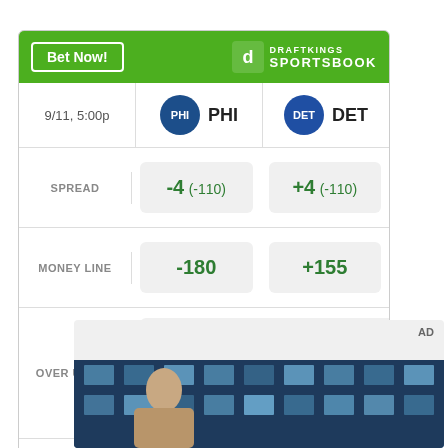[Figure (infographic): DraftKings Sportsbook betting widget showing PHI vs DET game on 9/11 5:00p. Spread: PHI -4 (-110), DET +4 (-110). Money Line: PHI -180, DET +155. Over/Under: >49 (-110), <49 (-110).]
Odds/Lines subject to change. See draftkings.com for details.
[Figure (photo): Advertisement section with AD label and partial photo of a young person in front of a building with glass windows.]